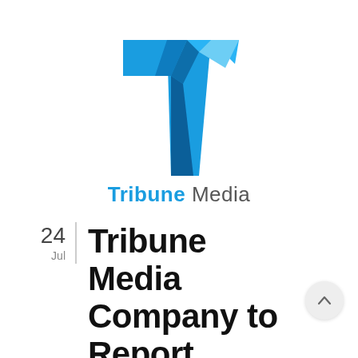[Figure (logo): Tribune Media company logo — a stylized letter T in blue gradient with a cutout, followed by the brand name 'Tribune Media' in blue bold and gray regular text]
Tribune Media Company to Report Second Quarter 2017